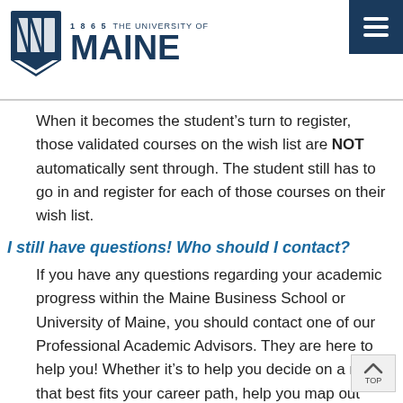[Figure (logo): University of Maine logo with shield and 1865 text]
When it becomes the student’s turn to register, those validated courses on the wish list are NOT automatically sent through. The student still has to go in and register for each of those courses on their wish list.
I still have questions! Who should I contact?
If you have any questions regarding your academic progress within the Maine Business School or University of Maine, you should contact one of our Professional Academic Advisors. They are here to help you! Whether it’s to help you decide on a major that best fits your career path, help you map out which